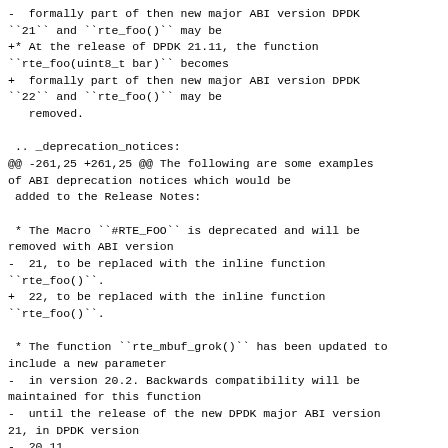-  formally part of then new major ABI version DPDK ``21`` and ``rte_foo()`` may be
+* At the release of DPDK 21.11, the function ``rte_foo(uint8_t bar)`` becomes
+  formally part of then new major ABI version DPDK ``22`` and ``rte_foo()`` may be
   removed.

 .. _deprecation_notices:
@@ -261,25 +261,25 @@ The following are some examples of ABI deprecation notices which would be
 added to the Release Notes:

 * The Macro ``#RTE_FOO`` is deprecated and will be removed with ABI version
-  21, to be replaced with the inline function ``rte_foo()``.
+  22, to be replaced with the inline function ``rte_foo()``.

 * The function ``rte_mbuf_grok()`` has been updated to include a new parameter
-  in version 20.2. Backwards compatibility will be maintained for this function
-  until the release of the new DPDK major ABI version 21, in DPDK version
-  20.11.
+  in version 21.2. Backwards compatibility will be maintained for this function
+  until the release of the new DPDK major ABI version 22, in DPDK version